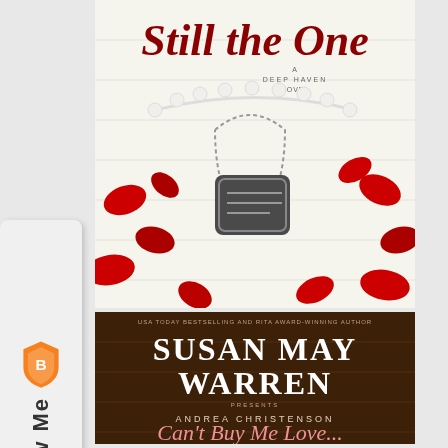[Figure (illustration): Book cover: 'Still the One' - A Deep Haven Novel. White wooden background with pearl necklace, military dog tags, and red rose petals. Title in dark red cursive script.]
[Figure (illustration): Book cover: 'Can't Buy Me Love' - A Deep Haven Novel. By Susan May Warren presenting Andrea Christenson. Dark wood background with car keys, pink flower keychain, and toy car keychain. Author name in large white serif font, title in cursive pink script.]
[Figure (illustration): Partial book cover showing 'SUSAN MAY' text at bottom, similar Deep Haven series style.]
[Figure (illustration): Left sidebar showing Brave browser 'Follow Me' button with shield logo.]